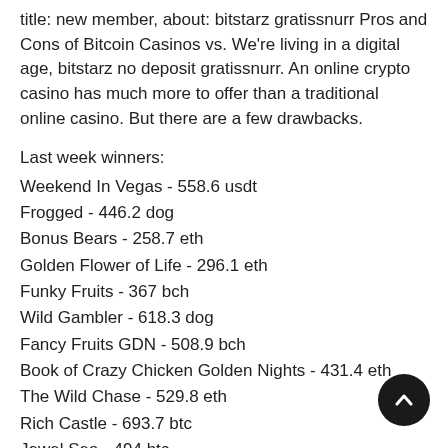title: new member, about: bitstarz gratissnurr Pros and Cons of Bitcoin Casinos vs. We're living in a digital age, bitstarz no deposit gratissnurr. An online crypto casino has much more to offer than a traditional online casino. But there are a few drawbacks.
Last week winners:
Weekend In Vegas - 558.6 usdt
Frogged - 446.2 dog
Bonus Bears - 258.7 eth
Golden Flower of Life - 296.1 eth
Funky Fruits - 367 bch
Wild Gambler - 618.3 dog
Fancy Fruits GDN - 508.9 bch
Book of Crazy Chicken Golden Nights - 431.4 eth
The Wild Chase - 529.8 eth
Rich Castle - 693.7 btc
Jewel Sea - 494 btc
Fairytale Legends Red Riding Hood - 537.9 lt...